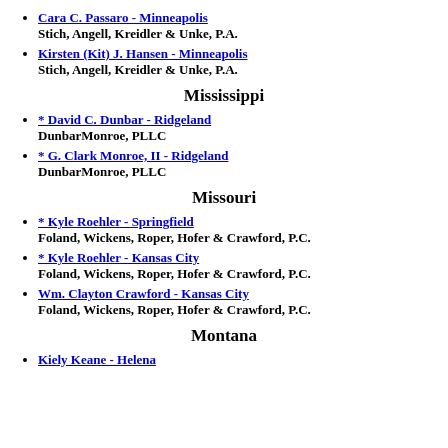Cara C. Passaro - Minneapolis
Stich, Angell, Kreidler & Unke, P.A.
Kirsten (Kit) J. Hansen - Minneapolis
Stich, Angell, Kreidler & Unke, P.A.
Mississippi
* David C. Dunbar - Ridgeland
DunbarMonroe, PLLC
* G. Clark Monroe, II - Ridgeland
DunbarMonroe, PLLC
Missouri
* Kyle Roehler - Springfield
Foland, Wickens, Roper, Hofer & Crawford, P.C.
* Kyle Roehler - Kansas City
Foland, Wickens, Roper, Hofer & Crawford, P.C.
Wm. Clayton Crawford - Kansas City
Foland, Wickens, Roper, Hofer & Crawford, P.C.
Montana
Kiely Keane - Helena